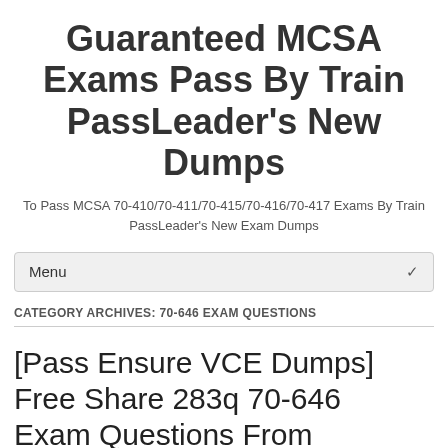Guaranteed MCSA Exams Pass By Train PassLeader's New Dumps
To Pass MCSA 70-410/70-411/70-415/70-416/70-417 Exams By Train
PassLeader's New Exam Dumps
Menu
CATEGORY ARCHIVES: 70-646 EXAM QUESTIONS
[Pass Ensure VCE Dumps] Free Share 283q 70-646 Exam Questions From